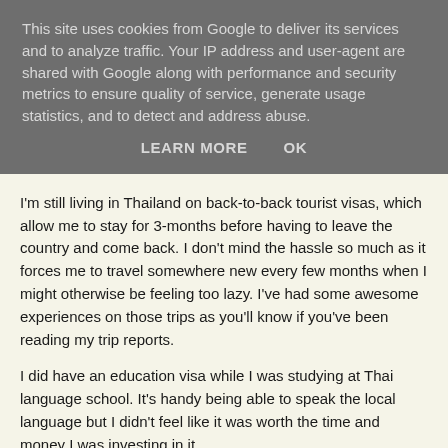This site uses cookies from Google to deliver its services and to analyze traffic. Your IP address and user-agent are shared with Google along with performance and security metrics to ensure quality of service, generate usage statistics, and to detect and address abuse.
LEARN MORE    OK
I'm still living in Thailand on back-to-back tourist visas, which allow me to stay for 3-months before having to leave the country and come back. I don't mind the hassle so much as it forces me to travel somewhere new every few months when I might otherwise be feeling too lazy. I've had some awesome experiences on those trips as you'll know if you've been reading my trip reports.
I did have an education visa while I was studying at Thai language school. It's handy being able to speak the local language but I didn't feel like it was worth the time and money I was investing in it.